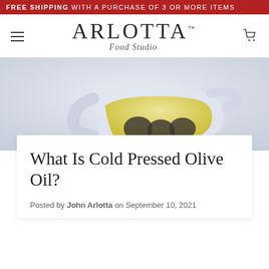FREE SHIPPING WITH A PURCHASE OF 3 OR MORE ITEMS
ARLOTTA™ Food Studio
[Figure (photo): A glass gravy boat or pitcher filled with golden olive oil, with dark olives visible inside, photographed against a light grey background.]
What Is Cold Pressed Olive Oil?
Posted by John Arlotta on September 10, 2021